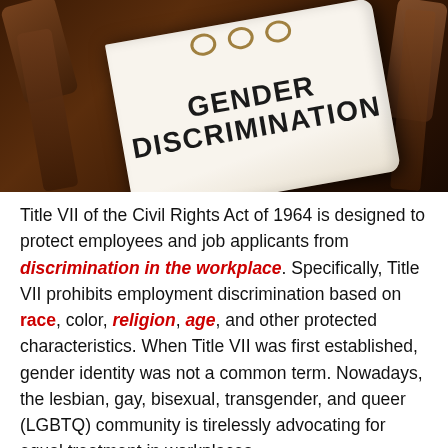[Figure (photo): A photo of an open binder or book with the text 'GENDER DISCRIMINATION' printed in bold capital letters on the page, with a wooden gavel visible in the background, suggesting a legal context.]
Title VII of the Civil Rights Act of 1964 is designed to protect employees and job applicants from discrimination in the workplace. Specifically, Title VII prohibits employment discrimination based on race, color, religion, age, and other protected characteristics. When Title VII was first established, gender identity was not a common term. Nowadays, the lesbian, gay, bisexual, transgender, and queer (LGBTQ) community is tirelessly advocating for equal treatment in workplaces.
According to a recent poll by Gallup, nearly 5.6 percent